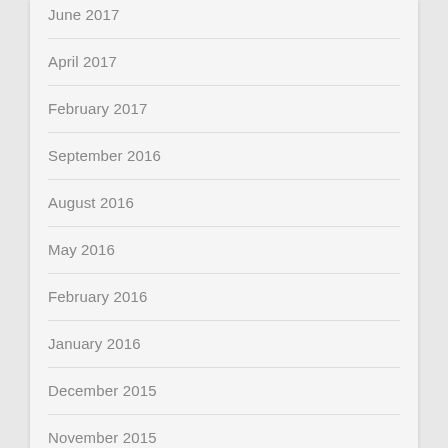June 2017
April 2017
February 2017
September 2016
August 2016
May 2016
February 2016
January 2016
December 2015
November 2015